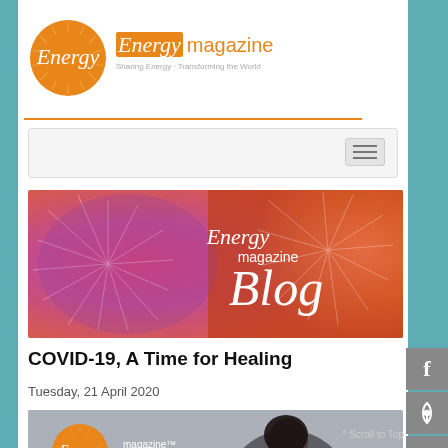[Figure (logo): Energy magazine logo with orange sunburst circle, italic 'Energy' text in white inside circle, 'magazine' in orange, tagline 'Sharing Energy - Transforming the World']
[Figure (screenshot): Navigation bar with hamburger menu icon on right side]
[Figure (photo): Energy magazine Blog banner image with colorful dandelion/flower macro photography in pink and orange tones, with 'Energy magazine Blog' text overlaid in white]
COVID-19, A Time for Healing
Tuesday, 21 April 2020
[Figure (photo): Energy magazine article image showing woman with dark hair, with Energy magazine logo overlay in bottom left]
[Figure (other): Social media sidebar with Facebook, Pinterest, Blog, and Contact icons in gray squares]
^ Scroll to Top